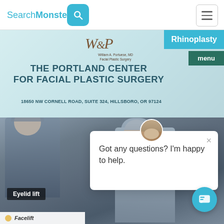SearchMonster
[Figure (screenshot): Search icon button (teal rounded square with magnifying glass)]
[Figure (screenshot): Hamburger menu button (three horizontal lines in bordered box)]
[Figure (screenshot): The Portland Center for Facial Plastic Surgery banner with logo and address. Rhinoplasty tab and menu button visible.]
THE PORTLAND CENTER FOR FACIAL PLASTIC SURGERY
18650 NW CORNELL ROAD, SUITE 324, HILLSBORO, OR 97124
[Figure (photo): Medical/surgical scene with doctors in scrubs and surgical caps performing or assisting in surgery. Chat bubble overlay reading 'Got any questions? I'm happy to help.']
Got any questions? I'm happy to help.
Eyelid lift
Facelift